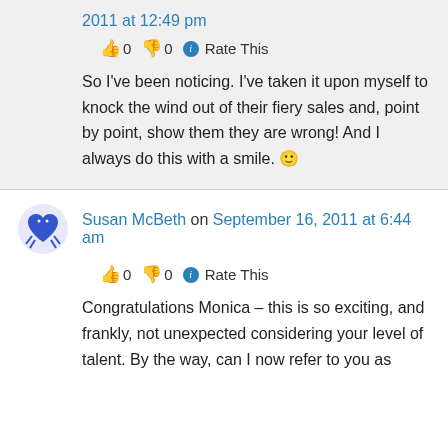2011 at 12:49 pm
👍 0 👎 0 ℹ Rate This
So I've been noticing. I've taken it upon myself to knock the wind out of their fiery sales and, point by point, show them they are wrong! And I always do this with a smile. 🙂
Susan McBeth on September 16, 2011 at 6:44 am
👍 0 👎 0 ℹ Rate This
Congratulations Monica – this is so exciting, and frankly, not unexpected considering your level of talent. By the way, can I now refer to you as